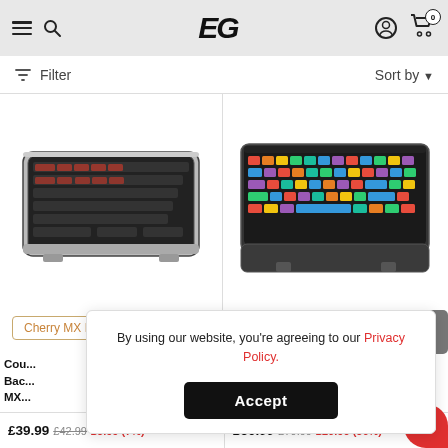EG - e-commerce gaming keyboard listing page
Filter    Sort by
[Figure (photo): Cougar gaming keyboard with red backlit keys, Cherry MX Brown switch, silver/black body, viewed from above slightly angled]
Cherry MX Brown
[Figure (photo): Cougar gaming keyboard with RGB rainbow backlit keys, Cherry MX Red switch, silver/black body with wrist rest, viewed from above]
Cherry MX Red
Cou... Ba... MX...
£39.99  £42.99  £3.00 (7%)
£50.99  £79.99  £29.00 (36%)
By using our website, you're agreeing to our Privacy Policy.
Accept